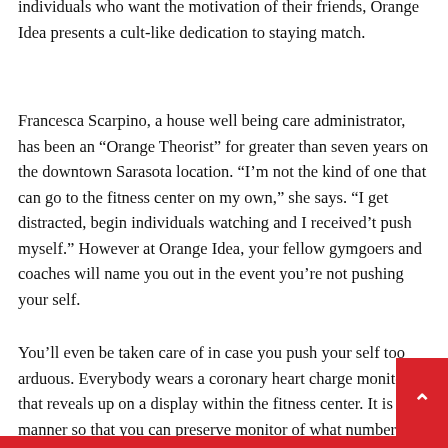individuals who want the motivation of their friends, Orange Idea presents a cult-like dedication to staying match.
Francesca Scarpino, a house well being care administrator, has been an “Orange Theorist” for greater than seven years on the downtown Sarasota location. “I’m not the kind of one that can go to the fitness center on my own,” she says. “I get distracted, begin individuals watching and I received’t push myself.” However at Orange Idea, your fellow gymgoers and coaches will name you out in the event you’re not pushing your self.
You’ll even be taken care of in case you push your self too arduous. Everybody wears a coronary heart charge monitor that reveals up on a display within the fitness center. It is a manner so that you can preserve monitor of what number of energy you’ve burned, measure your self in opposition to ordinary occasions, and stop yourself from shifting into the